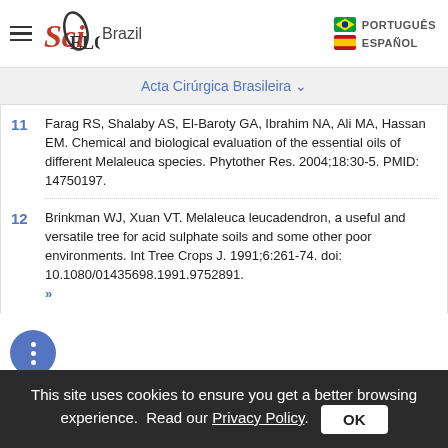SciELO Brazil | PORTUGUÊS | ESPAÑOL
Acta Cirúrgica Brasileira
11 Farag RS, Shalaby AS, El-Baroty GA, Ibrahim NA, Ali MA, Hassan EM. Chemical and biological evaluation of the essential oils of different Melaleuca species. Phytother Res. 2004;18:30-5. PMID: 14750197.
12 Brinkman WJ, Xuan VT. Melaleuca leucadendron, a useful and versatile tree for acid sulphate soils and some other poor environments. Int Tree Crops J. 1991;6:261-74. doi: 10.1080/01435698.1991.9752891. »
This site uses cookies to ensure you get a better browsing experience. Read our Privacy Policy.